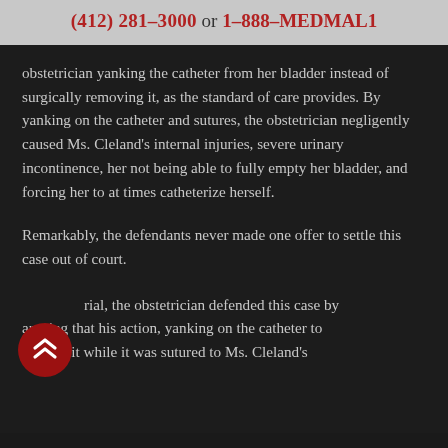(412) 281–3000 or 1–888–MEDMAL1
obstetrician yanking the catheter from her bladder instead of surgically removing it, as the standard of care provides. By yanking on the catheter and sutures, the obstetrician negligently caused Ms. Cleland's internal injuries, severe urinary incontinence, her not being able to fully empty her bladder, and forcing her to at times catheterize herself.
Remarkably, the defendants never made one offer to settle this case out of court.
At trial, the obstetrician defended this case by arguing that his action, yanking on the catheter to remove it while it was sutured to Ms. Cleland's